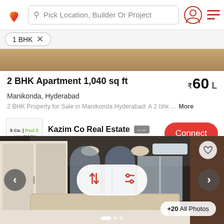Pick Location, Builder Or Project
1 BHK ×
2 BHK Apartment 1,040 sq ft
₹60 L
Manikonda, Hyderabad
2 BHK Property for Sale in Manikonda Hyderabad: A 2 bhk … More
Kazim Co Real Estate
AGENT
[Figure (photo): Interior photo of a furnished bedroom in an apartment, showing a bed, wardrobe, and ceiling lights, with sort/filter overlay buttons and navigation arrows]
+20 All Photos